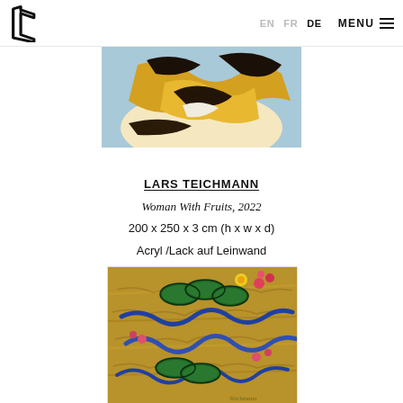EN FR DE MENU
[Figure (photo): Partial view of painting showing yellow and black abstract forms on light blue/white background — top portion of 'Woman With Fruits' painting by Lars Teichmann]
LARS TEICHMANN
Woman With Fruits, 2022
200 x 250 x 3 cm (h x w x d)
Acryl /Lack auf Leinwand
[Figure (photo): Painting showing green lily pad-like shapes and blue ribbon/serpentine forms on a golden-brown textured background with small pink flowers]